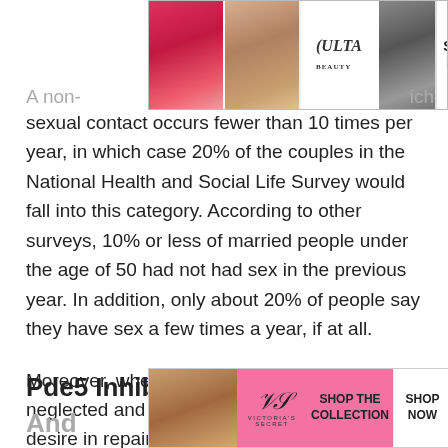[Figure (other): ULTA beauty advertisement banner at top of page showing makeup/beauty images with SHOP NOW button]
A non- ...ich sexual contact occurs fewer than 10 times per year, in which case 20% of the couples in the National Health and Social Life Survey would fall into this category. According to other surveys, 10% or less of married people under the age of 50 had not had sex in the previous year. In addition, only about 20% of people say they have sex a few times a year, if at all.
Moreover, when one partner feels sexually neglected and the other spouse has little to no desire in repairing the sexual relationship, the problem of a sexless marriage becomes a major issue in marriages.
Pde5 Inhibitors: Viagra Lev... CLOSE
And...
[Figure (other): Victoria's Secret advertisement banner at bottom showing model and SHOP THE COLLECTION / SHOP NOW buttons]